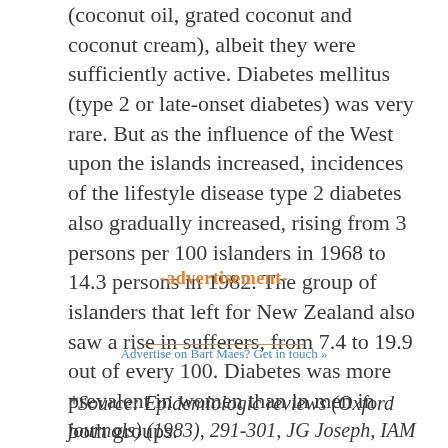(coconut oil, grated coconut and coconut cream), albeit they were sufficiently active. Diabetes mellitus (type 2 or late-onset diabetes) was very rare. But as the influence of the West upon the islands increased, incidences of the lifestyle disease type 2 diabetes also gradually increased, rising from 3 persons per 100 islanders in 1968 to 14.3 persons in 1982. The group of islanders that left for New Zealand also saw a rise in sufferers, from 7.4 to 19.9 out of every 100. Diabetes was more prevalent in women than in men in both groups.
-advertisement-
Advertise on Bart Maes? Get in touch »
*Source: Epidemiologic reviews (Oxford journals) (1983), 291-301, JG Joseph, IAM Prior, CE Salmond, D